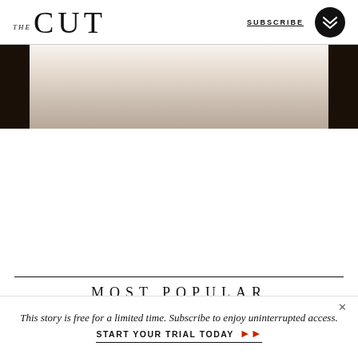THE CUT | SUBSCRIBE
[Figure (photo): Partial image strip with dark border frame, showing a blurred light-toned background — appears to be a cropped article image]
MOST POPULAR
Mother of Montecito…
This story is free for a limited time. Subscribe to enjoy uninterrupted access. START YOUR TRIAL TODAY →→